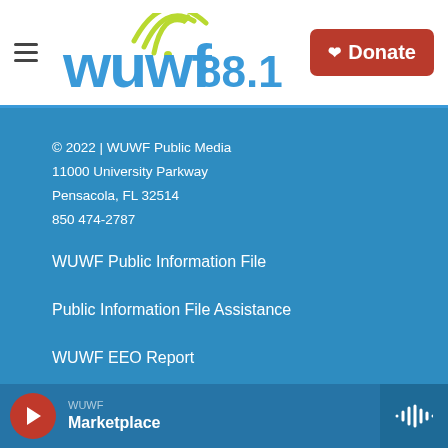[Figure (logo): WUWF 88.1 radio station logo with wifi signal arcs above the letters, in blue and yellow-green]
Donate
© 2022 | WUWF Public Media
11000 University Parkway
Pensacola, FL 32514
850 474-2787
WUWF Public Information File
Public Information File Assistance
WUWF EEO Report
About Us
Donate Now
WUWF Marketplace